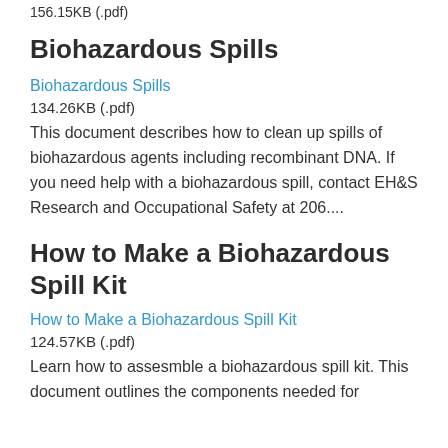156.15KB (.pdf)
Biohazardous Spills
Biohazardous Spills
134.26KB (.pdf)
This document describes how to clean up spills of biohazardous agents including recombinant DNA. If you need help with a biohazardous spill, contact EH&S Research and Occupational Safety at 206....
How to Make a Biohazardous Spill Kit
How to Make a Biohazardous Spill Kit
124.57KB (.pdf)
Learn how to assesmble a biohazardous spill kit. This document outlines the components needed for